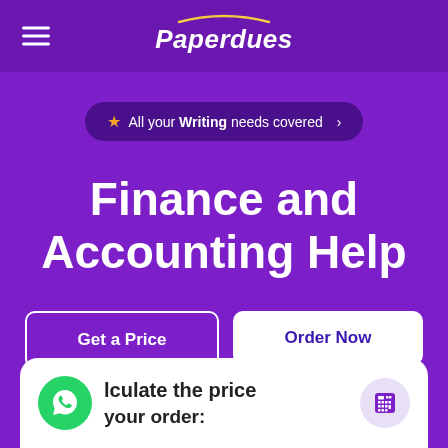Paperdues
★ All your Writing needs covered ›
Finance and Accounting Help
Get a Price
Order Now
lculate the price your order: